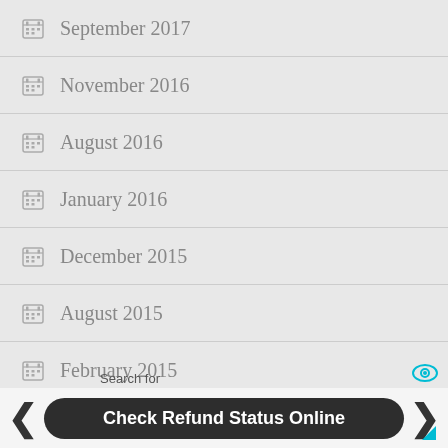September 2017
November 2016
August 2016
January 2016
December 2015
August 2015
February 2015
January 2015
Search for
Check Refund Status Online